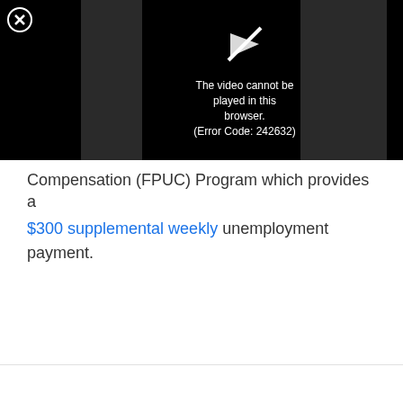[Figure (screenshot): Video player showing error message: 'The video cannot be played in this browser. (Error Code: 242632)' on a black background with a close (X) button and a broken video play icon.]
Compensation (FPUC) Program which provides a $300 supplemental weekly unemployment payment.